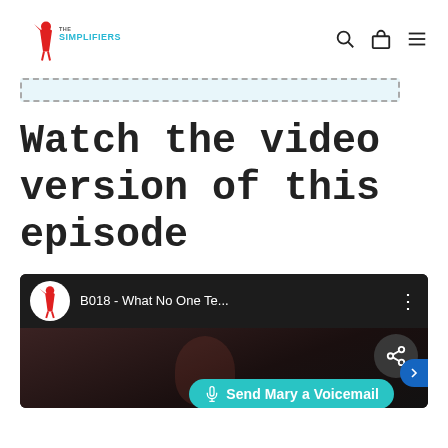The Simplifiers (logo) — navigation icons: search, bag, menu
[Figure (other): Dashed border box with light blue background, used as a decorative section divider]
Watch the video version of this episode
[Figure (screenshot): YouTube video thumbnail showing 'B018 - What No One Te...' with The Simplifiers logo, share icon, and a Send Mary a Voicemail teal button overlay]